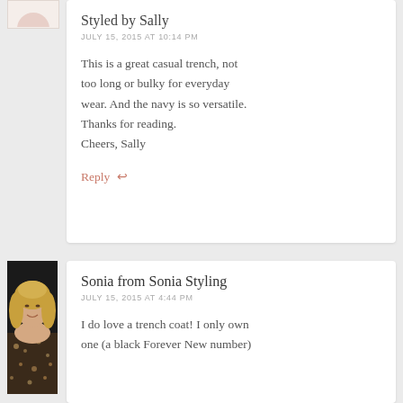Styled by Sally
JULY 15, 2015 AT 10:14 PM
This is a great casual trench, not too long or bulky for everyday wear. And the navy is so versatile. Thanks for reading.
Cheers, Sally
Reply
[Figure (photo): Profile photo of Sonia, a woman with long blonde hair wearing a patterned jacket]
Sonia from Sonia Styling
JULY 15, 2015 AT 4:44 PM
I do love a trench coat! I only own one (a black Forever New number)